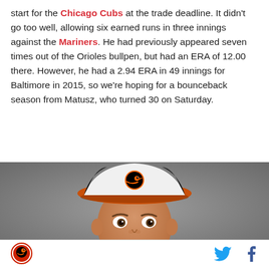start for the Chicago Cubs at the trade deadline. It didn't go too well, allowing six earned runs in three innings against the Mariners. He had previously appeared seven times out of the Orioles bullpen, but had an ERA of 12.00 there. However, he had a 2.94 ERA in 49 innings for Baltimore in 2015, so we're hoping for a bounceback season from Matusz, who turned 30 on Saturday.
[Figure (photo): Headshot photo of a baseball player wearing a white Baltimore Orioles hat with orange brim and the Orioles bird logo. The player is a young white male looking directly at the camera against a gray background.]
Orioles logo icon | Twitter bird icon | Facebook f icon